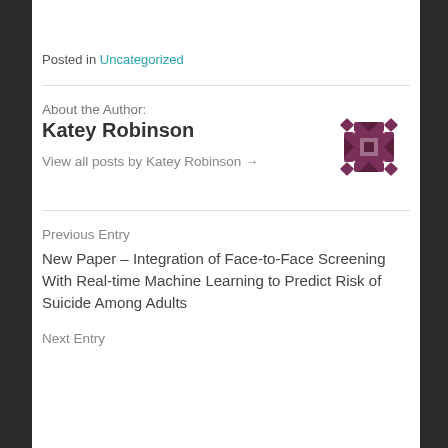Posted in Uncategorized
About the Author:
Katey Robinson
View all posts by Katey Robinson →
[Figure (illustration): Decorative geometric avatar icon in purple/maroon color, cross/snowflake pattern]
Previous Entry
New Paper – Integration of Face-to-Face Screening With Real-time Machine Learning to Predict Risk of Suicide Among Adults
Next Entry